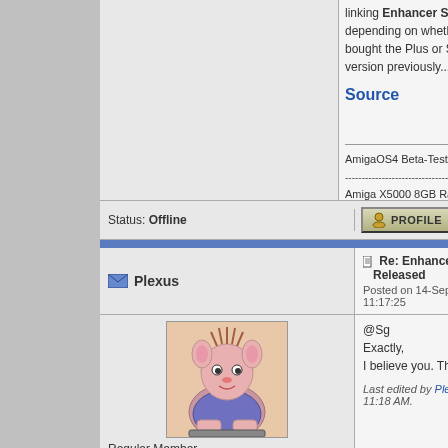linking Enhancer Software depending on whether you bought the Plus or Standard version previously...."
Source
AmigaOS4 Beta-Tester
------------------------------------
Amiga X5000 8GB Radeo 560
Amiga A1222 2GB Radeo 550
Sam 460 2GB RadeonRX
Status: Offline
Re: Enhancer Software 1.4 Released
Posted on 14-Sep-2018 11:17:25
Plexus
[Figure (illustration): Cartoon avatar of a pink mouse/rat character sitting at a computer, with wild hair and surprised expression]
Regular Member
Joined: 29-Sep-2003
Posts: 289
From: SWEDEN (Sverige)
@Sg
Exactly,
I believe you. Thanks for i
Last edited by Plexus on 14-Se 11:18 AM.